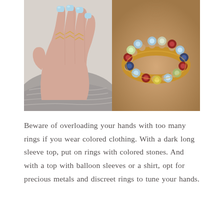[Figure (photo): Two side-by-side photos: left shows a hand with light blue manicured nails wearing delicate gold chevron/zigzag rings on multiple fingers, resting on a grey knit sweater; right shows a close-up of a gold eternity band ring studded with multicolored gemstones (red, blue, green, clear) resting on skin.]
Beware of overloading your hands with too many rings if you wear colored clothing. With a dark long sleeve top, put on rings with colored stones. And with a top with balloon sleeves or a shirt, opt for precious metals and discreet rings to tune your hands.